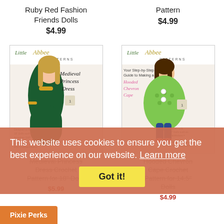Ruby Red Fashion Friends Dolls
$4.99
Pattern
$4.99
[Figure (photo): Little Abbee Patterns crochet pattern cover: Medieval Princess Dress, doll in dark green dress with yellow trim]
[Figure (photo): Little Abbee Patterns crochet pattern cover: Hooded Chevron Cape, doll wearing green lace cape]
Medieval Princess Dress Crochet Pattern for 18" Dolls
$5.99
Hooded Chevron Cape Crochet Pattern for 14.5" Dolls
$4.99
This website uses cookies to ensure you get the best experience on our website. Learn more
Got it!
Pixie Perks